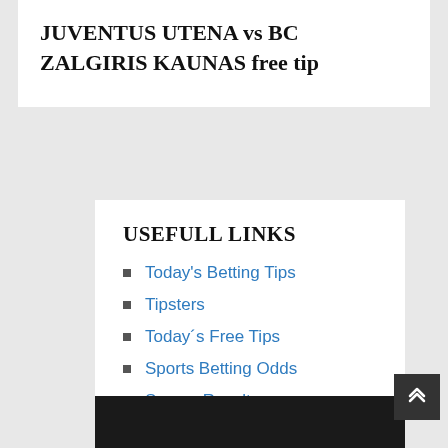JUVENTUS UTENA vs BC ZALGIRIS KAUNAS free tip
USEFULL LINKS
Today's Betting Tips
Tipsters
Today´s Free Tips
Sports Betting Odds
Soccer Results